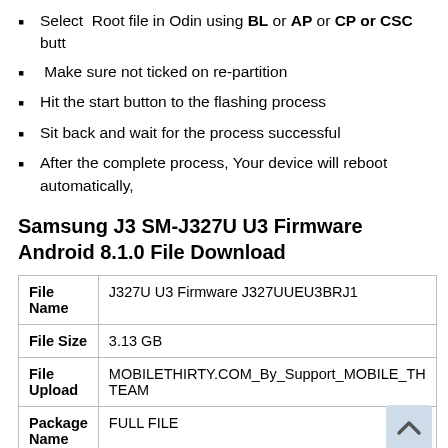Select Root file in Odin using BL or AP or CP or CSC butt
Make sure not ticked on re-partition
Hit the start button to the flashing process
Sit back and wait for the process successful
After the complete process, Your device will reboot automatically,
Samsung J3 SM-J327U U3 Firmware Android 8.1.0 File Download
|  |  |
| --- | --- |
| File Name | J327U U3 Firmware J327UUEU3BRJ1 |
| File Size | 3.13 GB |
| File Upload | MOBILETHIRTY.COM_By_Support_MOBILE_TH TEAM |
| Package Name | FULL FILE |